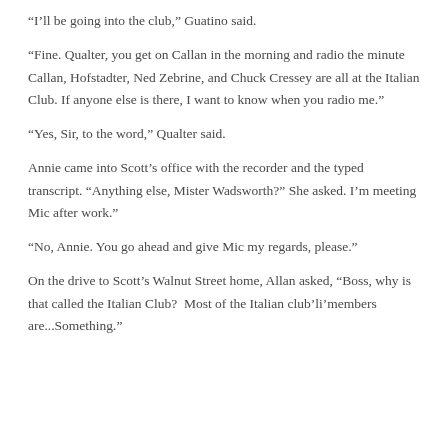“I’ll be going into the club,” Guatino said.
“Fine. Qualter, you get on Callan in the morning and radio the minute Callan, Hofstadter, Ned Zebrine, and Chuck Cressey are all at the Italian Club. If anyone else is there, I want to know when you radio me.”
“Yes, Sir, to the word,” Qualter said.
Annie came into Scott’s office with the recorder and the typed transcript. “Anything else, Mister Wadsworth?” She asked. I’m meeting Mic after work.”
“No, Annie. You go ahead and give Mic my regards, please.”
On the drive to Scott’s Walnut Street home, Allan asked, “Boss, why is that called the Italian Club?  Most of the Italian club(’)li’members are...Something.”